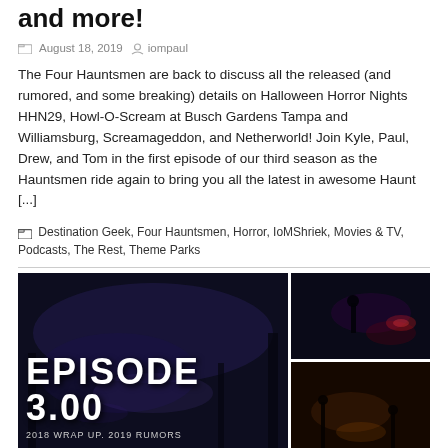and more!
August 18, 2019  iompaul
The Four Hauntsmen are back to discuss all the released (and rumored, and some breaking) details on Halloween Horror Nights HHN29, Howl-O-Scream at Busch Gardens Tampa and Williamsburg, Screamageddon, and Netherworld! Join Kyle, Paul, Drew, and Tom in the first episode of our third season as the Hauntsmen ride again to bring you all the latest in awesome Haunt [...]
Destination Geek, Four Hauntsmen, Horror, IoMShriek, Movies & TV, Podcasts, The Rest, Theme Parks
[Figure (photo): Episode 3.00 promotional image with dark atmospheric haunted scenes. Left panel shows 'EPISODE 3.00' text overlay with '2018 WRAP UP. 2019 RUMORS' subtitle on a dark moody background. Right panels show two dark horror-themed scenes.]